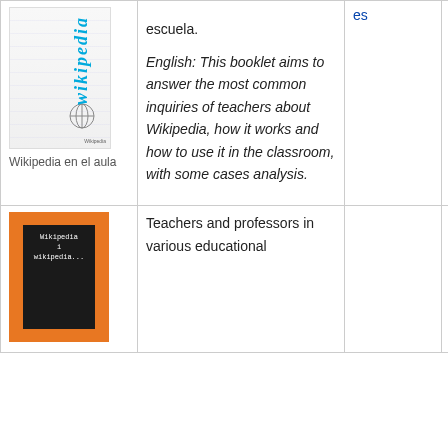[Figure (illustration): Cover of 'Wikipedia en el aula' booklet showing Wikipedia logo on lined paper background]
Wikipedia en el aula
escuela.
English: This booklet aims to answer the most common inquiries of teachers about Wikipedia, how it works and how to use it in the classroom, with some cases analysis.
es
version e translation
Sitio web informac Wikipedia
[Figure (illustration): Cover of 'Wikipedia i ...' book with orange cover and dark inner cover]
Teachers and professors in various educational